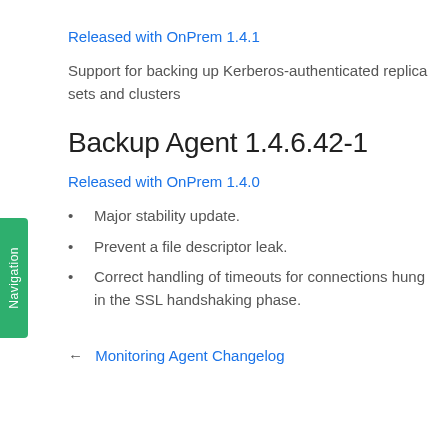Released with OnPrem 1.4.1
Support for backing up Kerberos-authenticated replica sets and clusters
Backup Agent 1.4.6.42-1
Released with OnPrem 1.4.0
Major stability update.
Prevent a file descriptor leak.
Correct handling of timeouts for connections hung in the SSL handshaking phase.
← Monitoring Agent Changelog